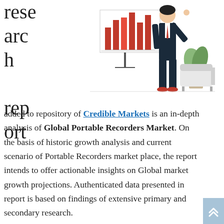research report
[Figure (illustration): Business person standing next to a bar chart display, with a plant and couch in the background. Illustration style.]
added to repository of Credible Markets is an in-depth analysis of Global Portable Recorders Market. On the basis of historic growth analysis and current scenario of Portable Recorders market place, the report intends to offer actionable insights on Global market growth projections. Authenticated data presented in report is based on findings of extensive primary and secondary research.